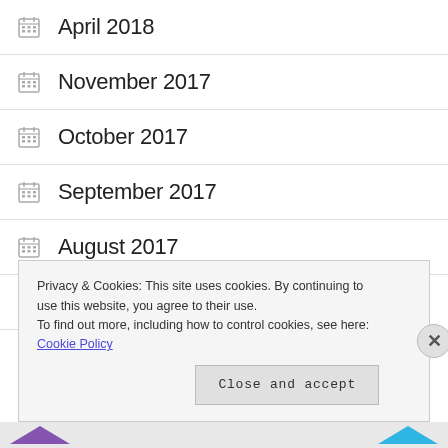April 2018
November 2017
October 2017
September 2017
August 2017
October 2016
September 2016 (partial)
Privacy & Cookies: This site uses cookies. By continuing to use this website, you agree to their use. To find out more, including how to control cookies, see here: Cookie Policy
Close and accept